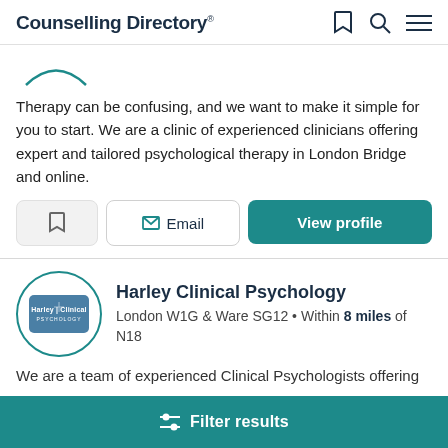Counselling Directory
[Figure (logo): Partial arc/wave logo element visible at top of listing]
Therapy can be confusing, and we want to make it simple for you to start. We are a clinic of experienced clinicians offering expert and tailored psychological therapy in London Bridge and online.
Email | View profile
[Figure (logo): Harley Clinical Psychology circular teal-bordered logo with blue oval badge inside]
Harley Clinical Psychology
London W1G & Ware SG12 • Within 8 miles of N18
We are a team of experienced Clinical Psychologists offering
Filter results